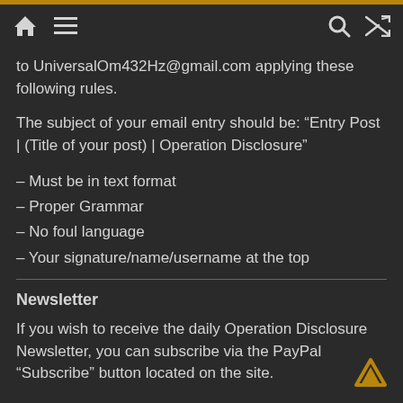[navigation bar with home, menu, search, shuffle icons]
to UniversalOm432Hz@gmail.com applying these following rules.
The subject of your email entry should be: "Entry Post | (Title of your post) | Operation Disclosure"
– Must be in text format
– Proper Grammar
– No foul language
– Your signature/name/username at the top
Newsletter
If you wish to receive the daily Operation Disclosure Newsletter, you can subscribe via the PayPal “Subscribe” button located on the site.